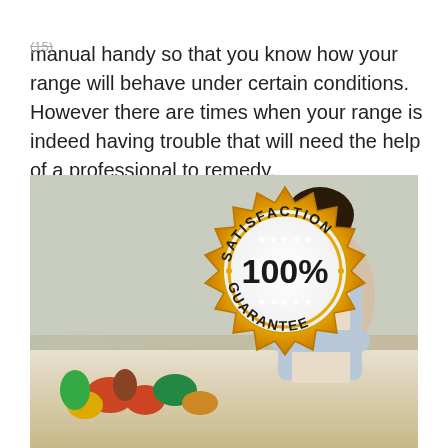ranges, you should always keep the owner's manual handy so that you know how your range will behave under certain conditions. However there are times when your range is indeed having trouble that will need the help of a professional to remedy.
[Figure (photo): A smiling woman in an apron stands with arms crossed in a kitchen with vegetables on the counter. Overlaid is a gold satisfaction guarantee badge reading 'SATISFACTION 100% GUARANTEE'.]